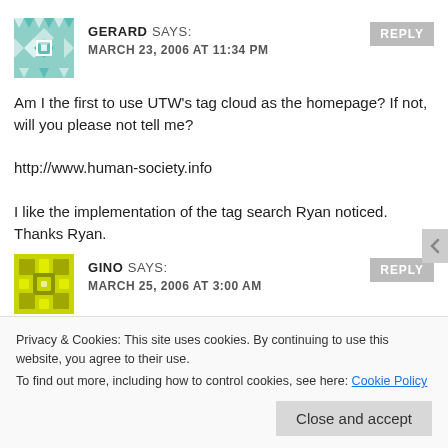[Figure (illustration): Teal/green geometric avatar for user Gerard]
GERARD SAYS:
MARCH 23, 2006 AT 11:34 PM
REPLY
Am I the first to use UTW’s tag cloud as the homepage? If not, will you please not tell me?

http://www.human-society.info

I like the implementation of the tag search Ryan noticed. Thanks Ryan.
[Figure (illustration): Yellow/green geometric avatar for user Gino]
GINO SAYS:
MARCH 25, 2006 AT 3:00 AM
REPLY
Privacy & Cookies: This site uses cookies. By continuing to use this website, you agree to their use.
To find out more, including how to control cookies, see here: Cookie Policy
Close and accept